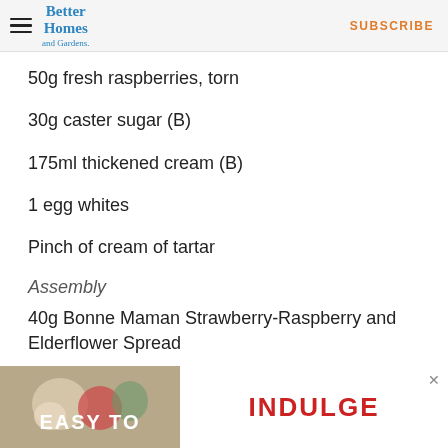Better Homes and Gardens | SUBSCRIBE
50g fresh raspberries, torn
30g caster sugar (B)
175ml thickened cream (B)
1 egg whites
Pinch of cream of tartar
Assembly
40g Bonne Maman Strawberry-Raspberry and Elderflower Spread
[Figure (photo): Advertisement banner showing 'EASY TO INDULGE' with decorative items and a close button]